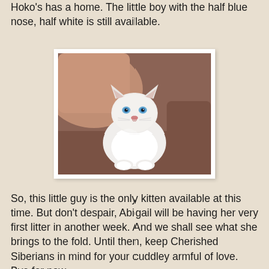Hoko's has a home.  The little boy with the half blue nose, half white is still available.
[Figure (photo): A white fluffy kitten with blue eyes sitting on a brown sofa, looking upward slightly.]
So, this little guy is the only kitten available at this time.  But don't despair, Abigail will be having her very first litter in another week.  And we shall see what she brings to the fold.   Until then, keep Cherished Siberians in mind for your cuddley armful of love. Bye for now.